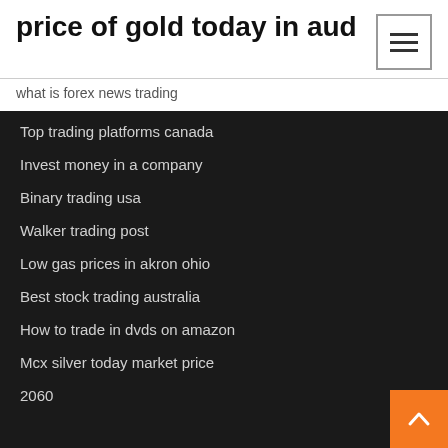price of gold today in aud
what is forex news trading
Top trading platforms canada
Invest money in a company
Binary trading usa
Walker trading post
Low gas prices in akron ohio
Best stock trading australia
How to trade in dvds on amazon
Mcx silver today market price
2060